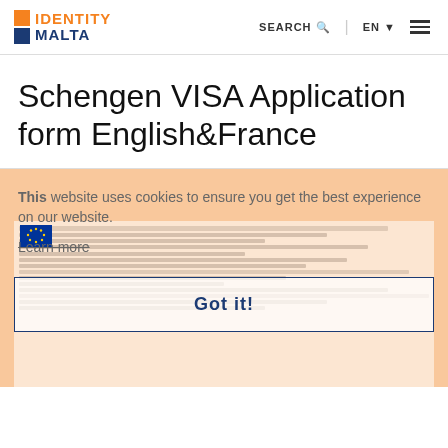IDENTITY MALTA | SEARCH | EN
Schengen VISA Application form English&France
[Figure (screenshot): Screenshot of Identity Malta website showing a Schengen VISA Application form page with a cookie consent overlay and a 'Got It!' button, partially obscuring a preview of the application form document.]
This website uses cookies to ensure you get the best experience on our website.
Learn more
Got it!